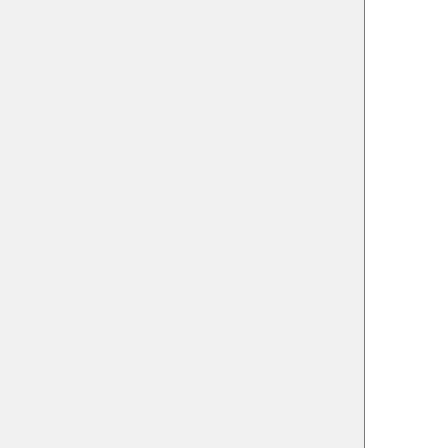number successes and proportion successes are recorded each update. Either X or can be selected with the list b. The discrete probability density func and moments the selected variable shown in blue the distribu graph and recorded in distribution table. On e update, empirical
BinomialTimelineExperiment:
To view this experiment, click here and select "BinomialTimelineExperiment" from the list.
SOCR_Experiments.html